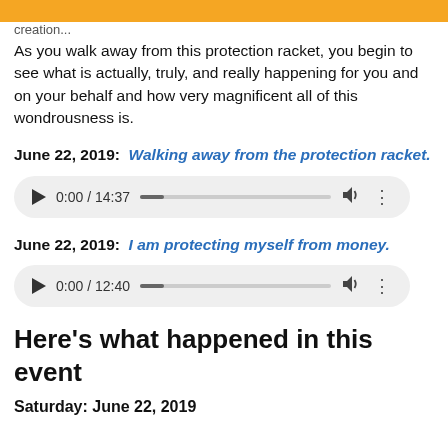creation...
As you walk away from this protection racket, you begin to see what is actually, truly, and really happening for you and on your behalf and how very magnificent all of this wondrousness is.
June 22, 2019: Walking away from the protection racket.
[Figure (other): Audio player showing 0:00 / 14:37 with play button, progress bar, volume icon, and options menu]
June 22, 2019: I am protecting myself from money.
[Figure (other): Audio player showing 0:00 / 12:40 with play button, progress bar, volume icon, and options menu]
Here's what happened in this event
Saturday: June 22, 2019